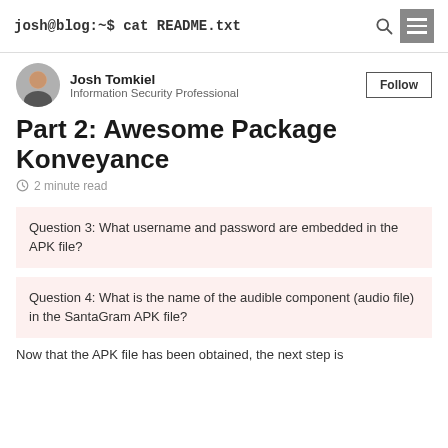josh@blog:~$ cat README.txt
Josh Tomkiel
Information Security Professional
Part 2: Awesome Package Konveyance
2 minute read
Question 3: What username and password are embedded in the APK file?
Question 4: What is the name of the audible component (audio file) in the SantaGram APK file?
Now that the APK file has been obtained, the next step is